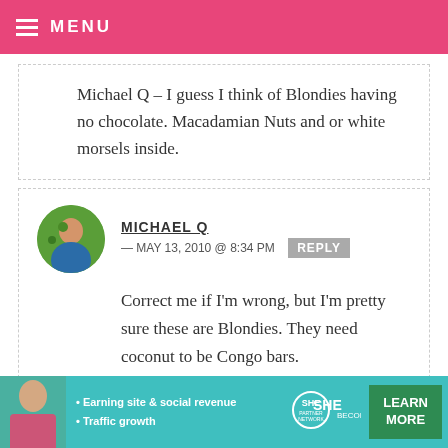MENU
Michael Q – I guess I think of Blondies having no chocolate. Macadamian Nuts and or white morsels inside.
MICHAEL Q — MAY 13, 2010 @ 8:34 PM REPLY
Correct me if I'm wrong, but I'm pretty sure these are Blondies. They need coconut to be Congo bars.
[Figure (infographic): SHE Partner Network advertisement banner with woman photo, bullet points about Earning site & social revenue and Traffic growth, SHE logo, and Learn More button]